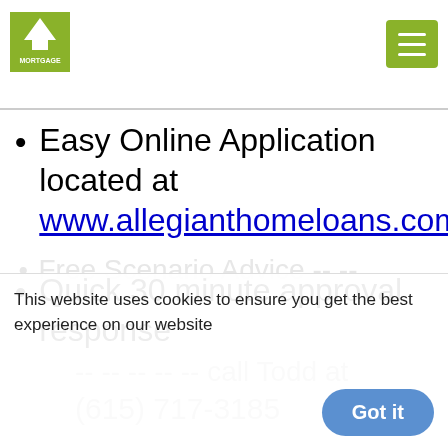[Figure (logo): Allegiant Mortgage logo — green square with stylized white sun/rays above text]
Easy Online Application located at www.allegianthomeloans.com
Quick 30 minute approval response
Free Scenario Advice -- -- -- -- -- call Todd at (615) 717-3185
This website uses cookies to ensure you get the best experience on our website